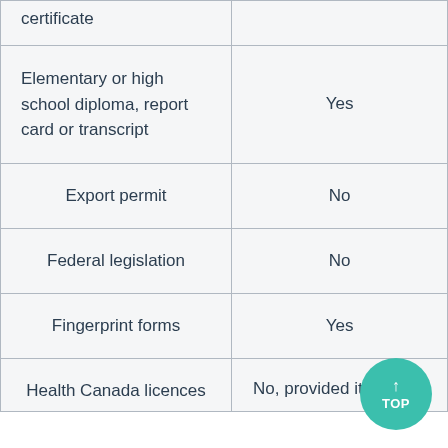| Document type | Needs translation |
| --- | --- |
| certificate |  |
| Elementary or high school diploma, report card or transcript | Yes |
| Export permit | No |
| Federal legislation | No |
| Fingerprint forms | Yes |
| Health Canada licences | No, provided it has a... |